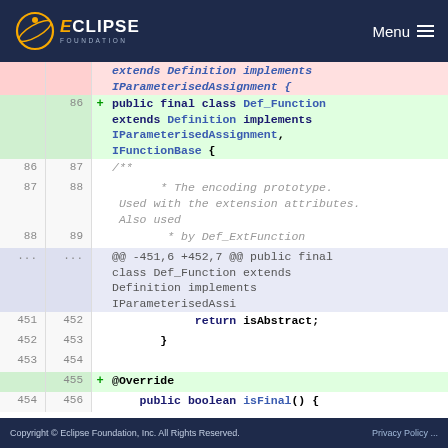Eclipse Foundation | Menu
[Figure (screenshot): Code diff view showing Java class Def_Function extending Definition and implementing IParameterisedAssignment and IFunctionBase, with line numbers, removed/added/context rows, and a hunk header.]
Copyright © Eclipse Foundation, Inc. All Rights Reserved.   Privacy Policy ...